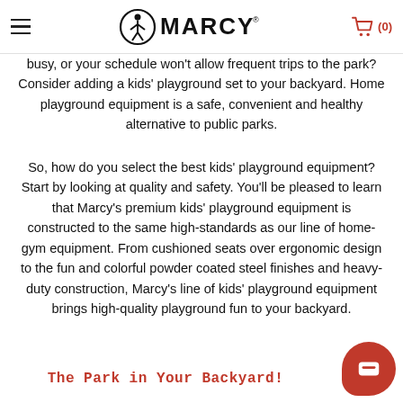Marcy — (hamburger menu) (cart 0)
busy, or your schedule won't allow frequent trips to the park? Consider adding a kids' playground set to your backyard. Home playground equipment is a safe, convenient and healthy alternative to public parks.
So, how do you select the best kids' playground equipment? Start by looking at quality and safety. You'll be pleased to learn that Marcy's premium kids' playground equipment is constructed to the same high-standards as our line of home-gym equipment. From cushioned seats over ergonomic design to the fun and colorful powder coated steel finishes and heavy-duty construction, Marcy's line of kids' playground equipment brings high-quality playground fun to your backyard.
The Park in Your Backyard!